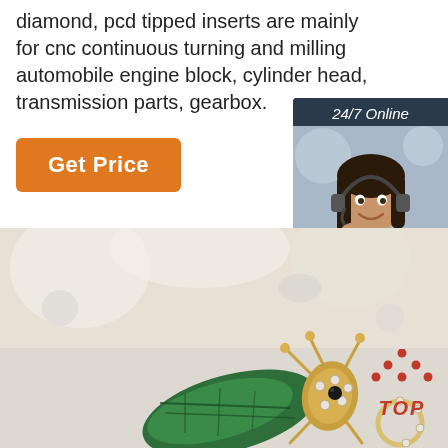diamond, pcd tipped inserts are mainly for cnc continuous turning and milling automobile engine block, cylinder head, transmission parts, gearbox.
[Figure (other): Orange 'Get Price' button]
[Figure (other): 24/7 online chat widget with photo of woman with headset, 'Click here for free chat!' text, and orange QUOTATION button]
[Figure (photo): Close-up photo of jewelry items including a decorative insect brooch with green enamel and rhinestones on a white background]
[Figure (other): Red 'TOP' icon with upward-pointing triangle made of dots]